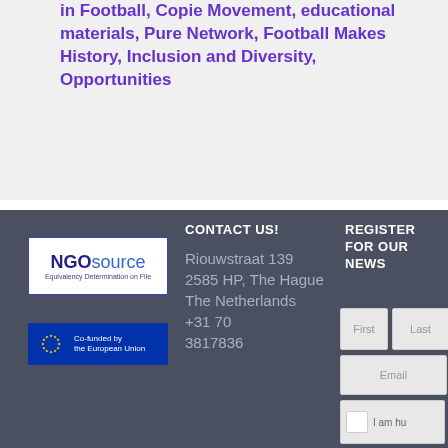in Football, Copie Movement, educational materials, Pure Network, Football Makes History, Inclusion and Diversity, Opportunities
[Figure (logo): NGOsource logo with text 'Equivalency Determination on File' in a white box with blue border]
[Figure (logo): EU Co-funded by the European Union logo with blue background and stars]
CONTACT US!
Riouwstraat 139 2585 HP, The Hague
The Netherlands
+31 70
3817836
REGISTER FOR OUR NEWS
First Last (form fields)
Email (form field)
I am hu (captcha field)